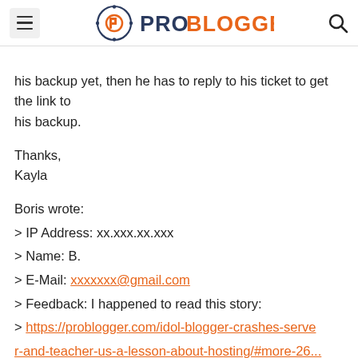PROBLOGGER
his backup yet, then he has to reply to his ticket to get the link to his backup.

Thanks,
Kayla

Boris wrote:
> IP Address: xx.xxx.xx.xxx
> Name: B.
> E-Mail: xxxxxxx@gmail.com
> Feedback: I happened to read this story:
> https://problogger.com/idol-blogger-crashes-server-and-teacher-us-a-lesson-about-hosting/#more-26...